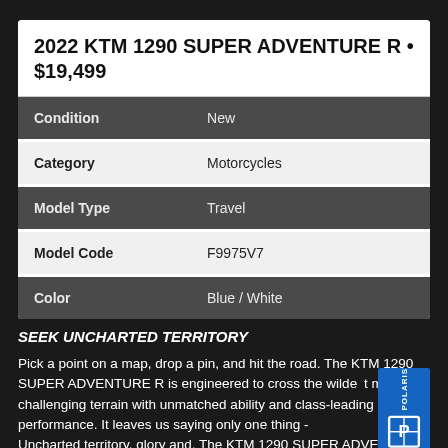2022 KTM 1290 SUPER ADVENTURE R • $19,499
| Field | Value |
| --- | --- |
| Condition | New |
| Category | Motorcycles |
| Model Type | Travel |
| Model Code | F9975V7 |
| Color | Blue / White |
SEEK UNCHARTED TERRITORY
Pick a point on a map, drop a pin, and hit the road. The KTM 1290 SUPER ADVENTURE R is engineered to cross the wildest most challenging terrain with unmatched ability and class-leading performance. It leaves us saying only one thing - Uncharted territory, glory and. The KTM 1290 SUPER ADVENTU...